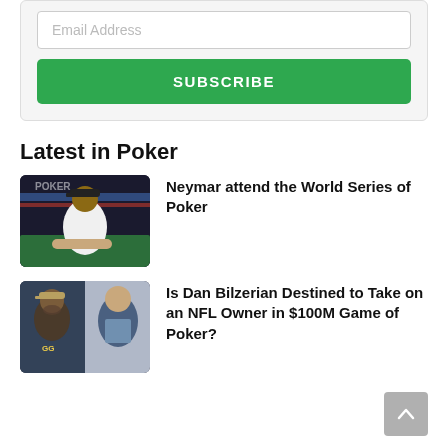Email Address
SUBSCRIBE
Latest in Poker
[Figure (photo): Person in white t-shirt sitting at a poker table with WSOP branding in background]
Neymar attend the World Series of Poker
[Figure (photo): Split image: man with beard and cap on left, older man in suit on right]
Is Dan Bilzerian Destined to Take on an NFL Owner in $100M Game of Poker?